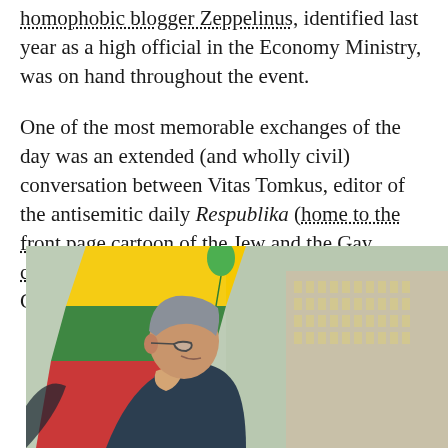homophobic blogger Zeppelinus, identified last year as a high official in the Economy Ministry, was on hand throughout the event.
One of the most memorable exchanges of the day was an extended (and wholly civil) conversation between Vitas Tomkus, editor of the antisemitic daily Respublika (home to the front page cartoon of the Jew and the Gay controlling the world) with the Wiesenthal Center's Dr. Efraim Zuroff.
[Figure (photo): Outdoor photograph of a man (Dr. Efraim Zuroff) in profile, with a Lithuanian flag (yellow, green, red stripes) visible in the background and a large building with columns visible to the right.]